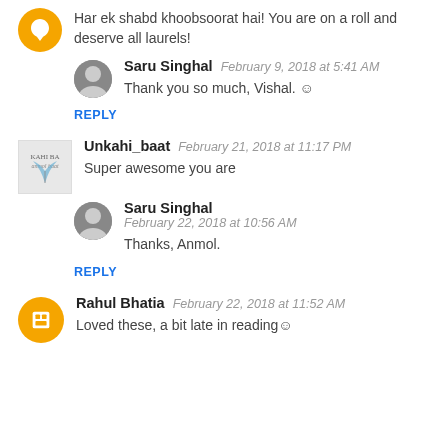Har ek shabd khoobsoorat hai! You are on a roll and deserve all laurels!
Saru Singhal  February 9, 2018 at 5:41 AM
Thank you so much, Vishal. ☺
REPLY
Unkahi_baat  February 21, 2018 at 11:17 PM
Super awesome you are
Saru Singhal  February 22, 2018 at 10:56 AM
Thanks, Anmol.
REPLY
Rahul Bhatia  February 22, 2018 at 11:52 AM
Loved these, a bit late in reading☺